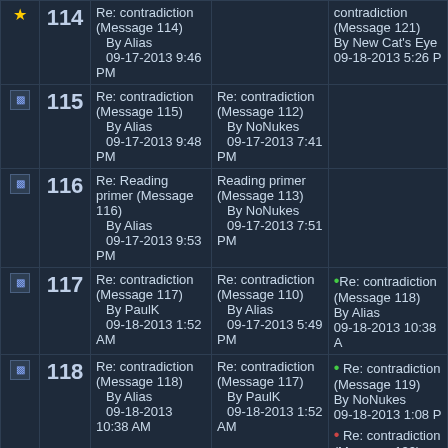| Icon | Msg# | Message | In Reply To | Replies |
| --- | --- | --- | --- | --- |
| icon | 114 | Re: contradiction (Message 114)
By Alias
09-17-2013 9:46 PM |  | Re: contradiction (Message 121)
By New Cat's Eye
09-18-2013 5:26 P |
| icon | 115 | Re: contradiction (Message 115)
By Alias
09-17-2013 9:48 PM | Re: contradiction (Message 112)
By NoNukes
09-17-2013 7:41 PM |  |
| icon | 116 | Re: Reading primer (Message 116)
By Alias
09-17-2013 9:53 PM | Reading primer (Message 113)
By NoNukes
09-17-2013 7:51 PM |  |
| icon | 117 | Re: contradiction (Message 117)
By PaulK
09-18-2013 1:52 AM | Re: contradiction (Message 110)
By Alias
09-17-2013 5:49 PM | •Re: contradiction (Message 118)
By Alias
09-18-2013 10:38 A |
| icon | 118 | Re: contradiction (Message 118)
By Alias
09-18-2013 10:38 AM | Re: contradiction (Message 117)
By PaulK
09-18-2013 1:52 AM | • Re: contradiction (Message 119)
By NoNukes
09-18-2013 1:08 P
• Re: contradiction (Message 120)
By PaulK
09-18-2013 2:08 P |
| icon | 119 | Re: contradiction (Message 119)
By NoNukes
09-18-2013 1:08 PM | Re: contradiction (Message 118)
By Alias
09-18-2013 10:38 AM | • Re: contradiction (Message 125)
By Alias
09-18-2013 7:01 P |
| icon | 120 | Re: contradiction (Message 120)
By PaulK | Re: contradiction (Message 118)
By Alias |  |